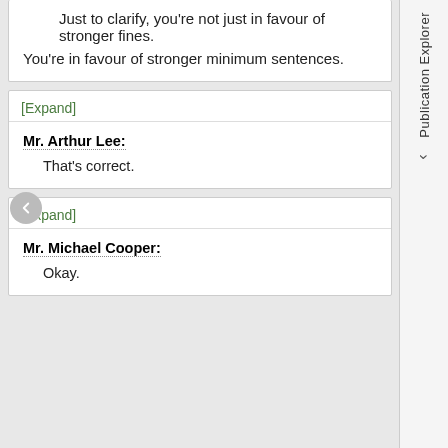Just to clarify, you're not just in favour of stronger fines. You're in favour of stronger minimum sentences.
[Expand]
Mr. Arthur Lee:
That's correct.
[Expand]
Mr. Michael Cooper:
Okay.
Publication Explorer